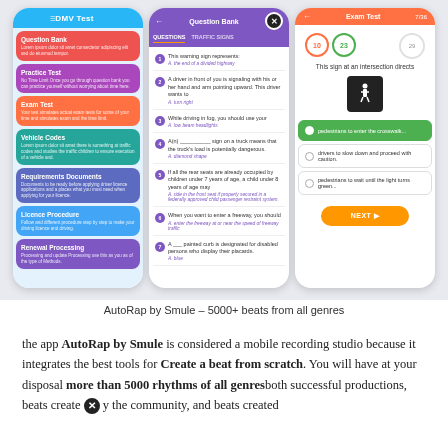[Figure (screenshot): Three mobile app screenshots showing DMV Test app screens: (1) DMV Test main menu with Question Bank, Practice Test, Exam Test, Vehicle Codes, Requirements Documents, Licence Procedure, Renewal Processing; (2) Question Bank screen with traffic-related multiple choice questions 1-7; (3) Exam Test screen with pedestrian crossing sign question and multiple choice answers, NEXT button]
AutoRap by Smule – 5000+ beats from all genres
the app AutoRap by Smule is considered a mobile recording studio because it integrates the best tools for Create a beat from scratch. You will have at your disposal more than 5000 rhythms of all genres both successful productions, beats create [x icon] y the community, and beats created